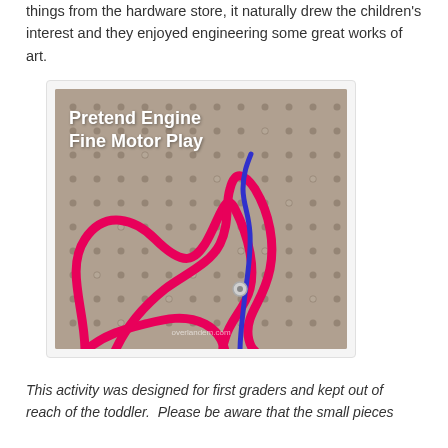things from the hardware store, it naturally drew the children's interest and they enjoyed engineering some great works of art.
[Figure (photo): Photo of a pegboard with holes, pink cord/shoelace threaded through holes in a looping pattern, with a blue cord also visible. Text overlay reads 'Pretend Engine Fine Motor Play'. Watermark 'overlandem.com' at bottom.]
This activity was designed for first graders and kept out of reach of the toddler.  Please be aware that the small pieces